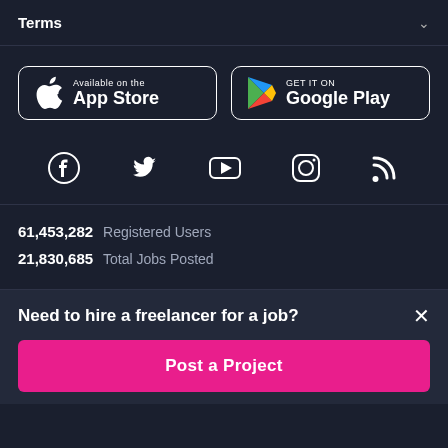Terms
[Figure (screenshot): App Store and Google Play store download buttons]
[Figure (infographic): Social media icons: Facebook, Twitter, YouTube, Instagram, RSS]
61,453,282 Registered Users
21,830,685 Total Jobs Posted
Need to hire a freelancer for a job?
Post a Project